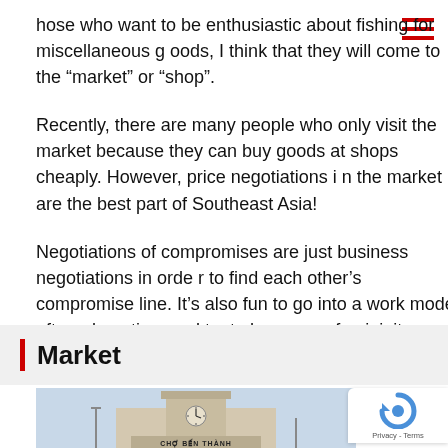hose who want to be enthusiastic about fishing for miscellaneous goods, I think that they will come to the “market” or “shop”.
Recently, there are many people who only visit the market because they can buy goods at shops cheaply. However, price negotiations in the market are the best part of Southeast Asia!
Negotiations of compromises are just business negotiations in order to find each other’s compromise line. It’s also fun to go into a work mode after a long time and try to hone your femininity.
Market
[Figure (photo): Photo of Ben Thanh Market clock tower with sign reading CHO BEN THANH at the bottom]